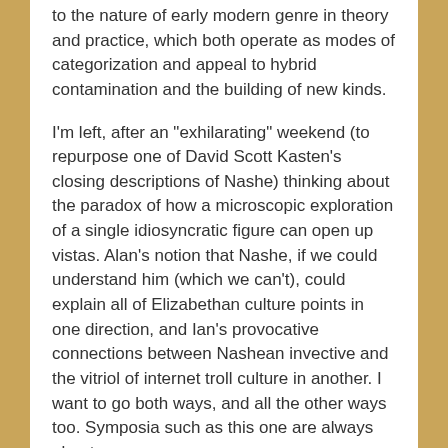to the nature of early modern genre in theory and practice, which both operate as modes of categorization and appeal to hybrid contamination and the building of new kinds.
I'm left, after an "exhilarating" weekend (to repurpose one of David Scott Kasten's closing descriptions of Nashe) thinking about the paradox of how a microscopic exploration of a single idiosyncratic figure can open up vistas. Alan's notion that Nashe, if we could understand him (which we can't), could explain all of Elizabethan culture points in one direction, and Ian's provocative connections between Nashean invective and the vitriol of internet troll culture in another. I want to go both ways, and all the other ways too. Symposia such as this one are always about